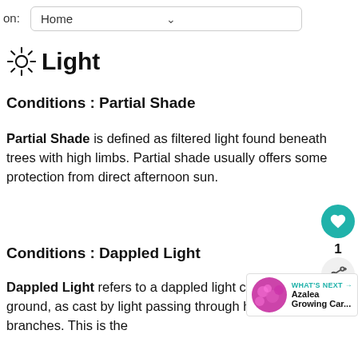on: Home
☀ Light
Conditions : Partial Shade
Partial Shade is defined as filtered light found beneath trees with high limbs. Partial shade usually offers some protection from direct afternoon sun.
Conditions : Dappled Light
Dappled Light refers to a dappled light created on the ground, as cast by light passing through high tree branches. This is the